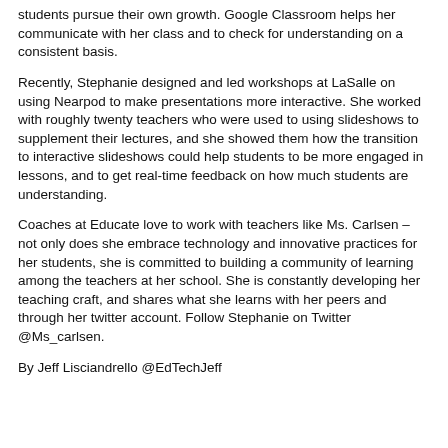students pursue their own growth. Google Classroom helps her communicate with her class and to check for understanding on a consistent basis.
Recently, Stephanie designed and led workshops at LaSalle on using Nearpod to make presentations more interactive. She worked with roughly twenty teachers who were used to using slideshows to supplement their lectures, and she showed them how the transition to interactive slideshows could help students to be more engaged in lessons, and to get real-time feedback on how much students are understanding.
Coaches at Educate love to work with teachers like Ms. Carlsen – not only does she embrace technology and innovative practices for her students, she is committed to building a community of learning among the teachers at her school. She is constantly developing her teaching craft, and shares what she learns with her peers and through her twitter account. Follow Stephanie on Twitter @Ms_carlsen.
By Jeff Lisciandrello @EdTechJeff